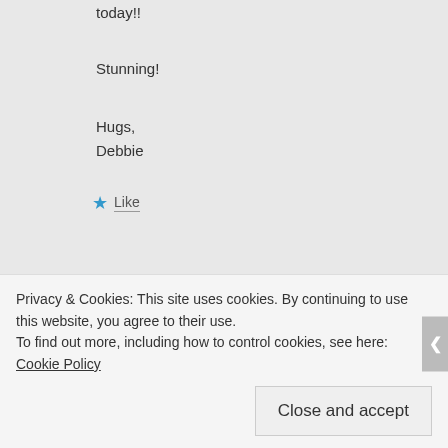today!!
Stunning!
Hugs,
Debbie
★ Like
llonmom
JULY 10, 2012 AT 5:18 PM
Privacy & Cookies: This site uses cookies. By continuing to use this website, you agree to their use.
To find out more, including how to control cookies, see here: Cookie Policy
Close and accept